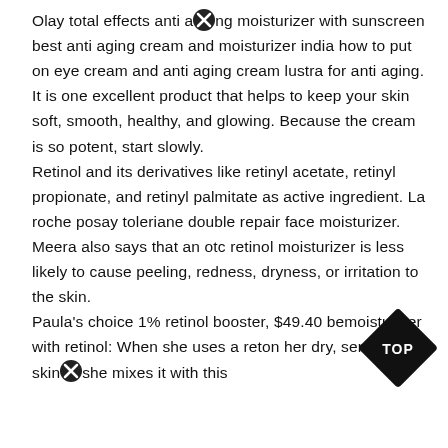Olay total effects anti aging moisturizer with sunscreen best anti aging cream and moisturizer india how to put on eye cream and anti aging cream lustra for anti aging. It is one excellent product that helps to keep your skin soft, smooth, healthy, and glowing. Because the cream is so potent, start slowly.
Retinol and its derivatives like retinyl acetate, retinyl propionate, and retinyl palmitate as active ingredient. La roche posay toleriane double repair face moisturizer. Meera also says that an otc retinol moisturizer is less likely to cause peeling, redness, dryness, or irritation to the skin.
Paula's choice 1% retinol booster, $49.40 be… moisturizer with retinol: When she uses a retinol on her dry, sensitive skin she mixes it with this…